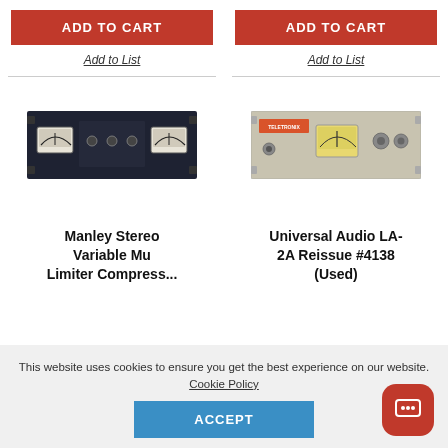[Figure (screenshot): Red 'ADD TO CART' button for left product]
Add to List
[Figure (screenshot): Red 'ADD TO CART' button for right product]
Add to List
[Figure (photo): Manley Stereo Variable Mu Limiter Compressor - dark blue/black rack unit with VU meters]
[Figure (photo): Universal Audio LA-2A Reissue #4138 (Used) - beige/silver rack unit with VU meter]
Manley Stereo Variable Mu Limiter Compress...
Universal Audio LA-2A Reissue #4138 (Used)
This website uses cookies to ensure you get the best experience on our website. Cookie Policy
ACCEPT